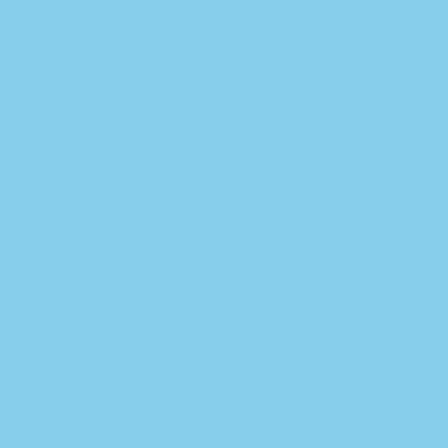href='https://celebrityreaders.wordpress.com'><img src='https://celebrityreaders.files.wordpress.com/2013/10/sublucky...
BLOGS WE FOLLOW
[Figure (illustration): Platypire Reviews blog logo — illustration of a bat-like platypus creature with wings spread, text 'Platypire' at top and 'Reviews' at bottom, black and white sketch style with decorative border]
Books and Bindings
Privacy & Cookies: This site uses cookies. By continuing to use this website, you agree to their use.
To find out more, including how to control cookies, see here: Cookie Policy
Close and accept